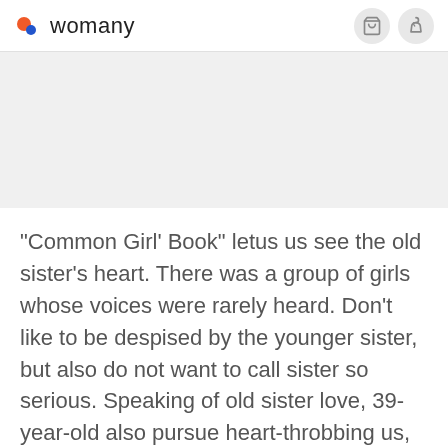womany
[Figure (other): Gray placeholder image area]
"Common Girl' Book" letus us see the old sister's heart. There was a group of girls whose voices were rarely heard. Don't like to be despised by the younger sister, but also do not want to call sister so serious. Speaking of old sister love, 39-year-old also pursue heart-throbbing us, really got something wrong?